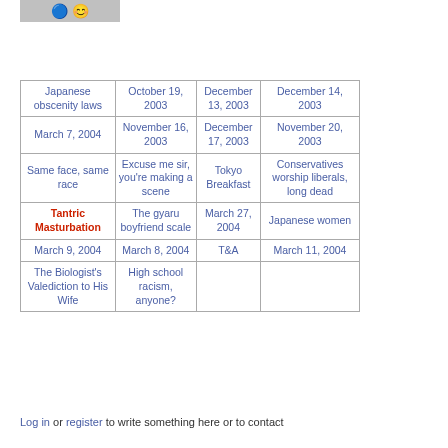[Figure (screenshot): Header area with StumbleUpon and Reddit icons on grey background]
| Japanese obscenity laws | October 19, 2003 | December 13, 2003 | December 14, 2003 |
| March 7, 2004 | November 16, 2003 | December 17, 2003 | November 20, 2003 |
| Same face, same race | Excuse me sir, you're making a scene | Tokyo Breakfast | Conservatives worship liberals, long dead |
| Tantric Masturbation | The gyaru boyfriend scale | March 27, 2004 | Japanese women |
| March 9, 2004 | March 8, 2004 | T&A | March 11, 2004 |
| The Biologist's Valediction to His Wife | High school racism, anyone? |  |  |
Log in or register to write something here or to contact